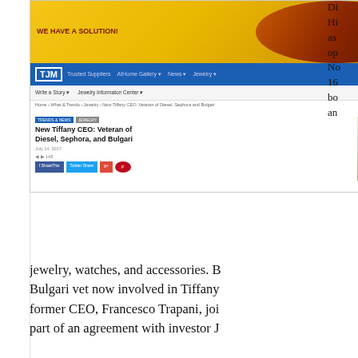[Figure (screenshot): Screenshot of a jewelry industry news website (TJM) showing an article titled 'New Tiffany CEO: Veteran of Diesel, Sephora, and Bulgari' with navigation bar, banner ad, breadcrumbs, and social sharing buttons]
jewelry, watches, and accessories. Bulgari vet now involved in Tiffany former CEO, Francesco Trapani, joi part of an agreement with investor J
Tiffany, Hermès, Louis Vuitton y Sephora abrirán tiendas para competir en mercado de lujo. Es por esta razón que firmas como Tiffany, Louis Vuitton y Sephora, analizan la posibilidad de abrir tiendas propias en el país, pues si bien ya algunos de sus productos son comercializados en e marcas que no tienen una representa